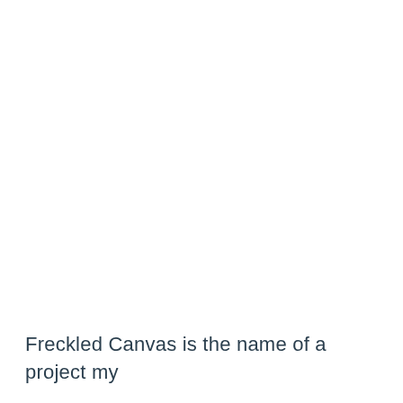Freckled Canvas is the name of a project my